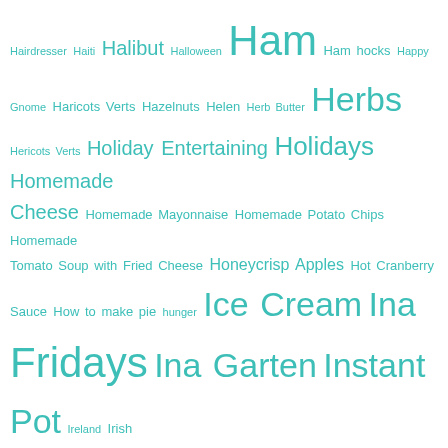[Figure (infographic): Tag cloud in teal/cyan color showing food, cooking, and culinary-related tags in varying font sizes. Tags include: Hairdresser, Haiti, Halibut, Halloween, Ham, Ham hocks, Happy Gnome, Haricots Verts, Hazelnuts, Helen, Herb Butter, Herbs, Hericots Verts, Holiday Entertaining, Holidays, Homemade Cheese, Homemade Mayonnaise, Homemade Potato Chips, Homemade Tomato Soup with Fried Cheese, Honeycrisp Apples, Hot Cranberry Sauce, How to make pie, hunger, Ice Cream, Ina Fridays, Ina Garten, Instant Pot, Ireland, Irish Soda Bread, Israeli Couscous, Italian Salad, Italian sausage, Jalapenos, Jam, Japan, Japanese Cooking, Japanese eggplant, Jeni's Ugandan Vanilla Ice Cream, Jim Beam, Julia Child, Julia Child - 100th Birthday, Julie Powell, Junk Food, kale, Kale Salad, Kathy, Kentucky Derby, Kids, Kiwi, Lamb, Lamb Chops, lamb shanks, Lamb Stew, Lasagna, Leave it Where Jesus Flang It, Leeks, Leftover Lamb Stew, Leftovers, Legumes, Lemon, Lemon Ice cream, Lemon Orzo with Asparagus, Lemon Pound Cake, Lemons, Lemon (continued), Lent, Lentils, (more cut off)]